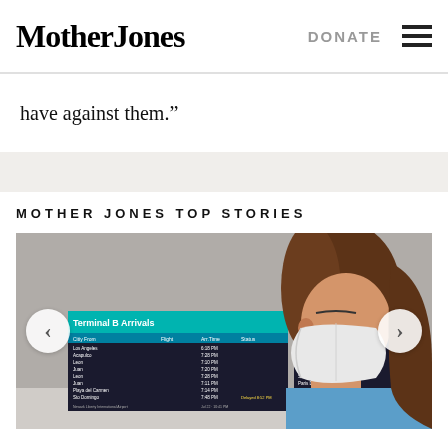Mother Jones | DONATE
have against them.”
MOTHER JONES TOP STORIES
[Figure (photo): A woman wearing a white face mask and blue scrubs looks at airport arrival/departure screens. The screens show Terminal B Arrivals and Terminal listings at what appears to be Newark Liberty International Airport. The image has left and right navigation arrows overlaid.]